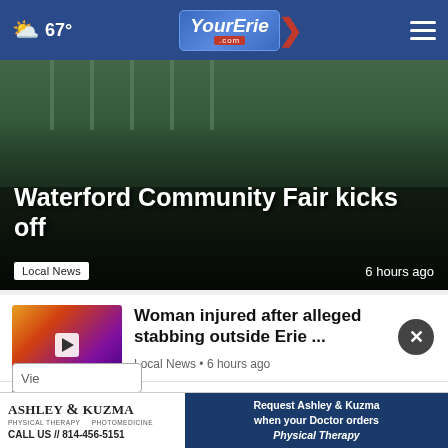67° YourErie.com
[Figure (photo): Hero image for Waterford Community Fair story — dark background with fence and figures visible at top]
Waterford Community Fair kicks off
Local News  6 hours ago
[Figure (photo): Thumbnail for stabbing story — colorful orange/purple abstract image with play button]
Woman injured after alleged stabbing outside Erie ...
Local News • 6 hours ago
[Figure (photo): Thumbnail for nursing home strike story — building with flag]
Workers at 14 Pennsylvania nursing homes go on strike
Pennsylvania News • 8 hours ago
[Figure (infographic): Ashley & Kuzma Physical Therapy Photomedicine advertisement — CALL US // 814-456-5151 — Request Ashley & Kuzma when your Doctor orders Physical Therapy]